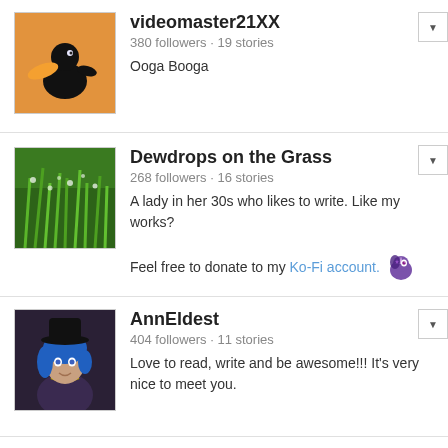videomaster21XX
380 followers · 19 stories
Ooga Booga
Dewdrops on the Grass
268 followers · 16 stories
A lady in her 30s who likes to write. Like my works?
Feel free to donate to my Ko-Fi account.
AnnEldest
404 followers · 11 stories
Love to read, write and be awesome!!! It's very nice to meet you.
Silverwolfdemon
249 followers · 7 stories
- No Bio Provided -
Neon Czolgosz